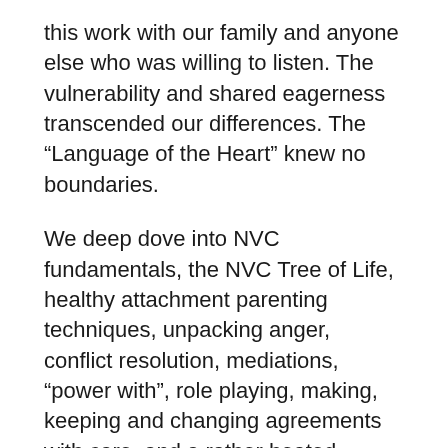this work with our family and anyone else who was willing to listen. The vulnerability and shared eagerness transcended our differences. The “Language of the Heart” knew no boundaries.
We deep dove into NVC fundamentals, the NVC Tree of Life, healthy attachment parenting techniques, unpacking anger, conflict resolution, mediations, “power with”, role playing, making, keeping and changing agreements with care, and a rather heated discussion on the patriarchy. The coursework load was heavy, but I got so much out of it. I looked forward to each class and for the opportunity for learning and growth and the deep connection I would get from the teachers and my classmates.